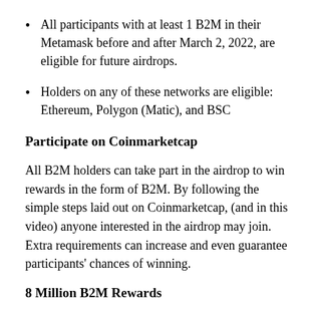All participants with at least 1 B2M in their Metamask before and after March 2, 2022, are eligible for future airdrops.
Holders on any of these networks are eligible: Ethereum, Polygon (Matic), and BSC
Participate on Coinmarketcap
All B2M holders can take part in the airdrop to win rewards in the form of B2M. By following the simple steps laid out on Coinmarketcap, (and in this video) anyone interested in the airdrop may join. Extra requirements can increase and even guarantee participants' chances of winning.
8 Million B2M Rewards
The airdrop rewards are allocated into 4 different tiers: Golden 8, Diamond, Silver, and Bronze. Every